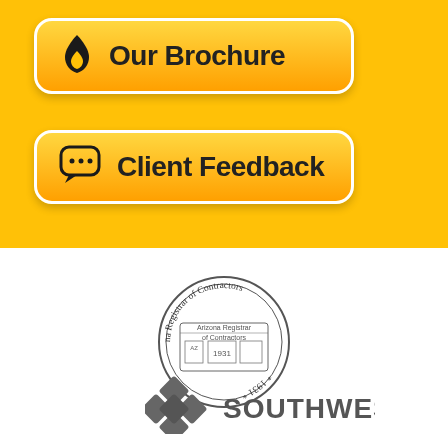[Figure (illustration): Yellow button with flame icon and text 'Our Brochure']
[Figure (illustration): Yellow button with speech bubble/chat icon and text 'Client Feedback']
[Figure (logo): Arizona Registrar of Contractors seal, circular, established 1931]
[Figure (logo): Southwest Gas logo with gray cross/diamond icon and text 'SOUTHWEST GAS']